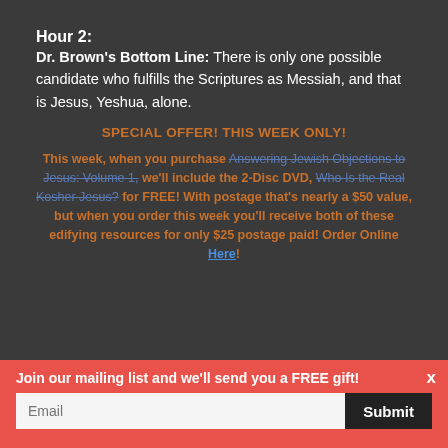Hour 2:
Dr. Brown's Bottom Line: There is only one possible candidate who fulfills the Scriptures as Messiah, and that is Jesus, Yeshua, alone.
SPECIAL OFFER! THIS WEEK ONLY!
This week, when you purchase Answering Jewish Objections to Jesus: Volume 1, we'll include the 2-Disc DVD, Who Is the Real Kosher Jesus? for FREE! With postage that's nearly a $50 value, but when you order this week you'll receive both of these edifying resources for only $25 postage paid! Order Online Here!
Join our mailing list and we'll send you a FREE gift!